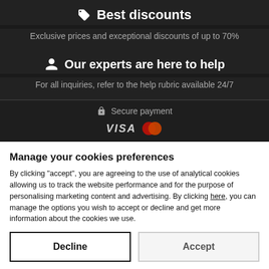Best discounts
Exclusive prices and exceptional discounts of up to 70%
Our experts are here to help
For all inquiries, refer to the help rubric available 24/7
Secure payment
[Figure (logo): VISA and Mastercard logos]
Manage your cookies preferences
By clicking "accept", you are agreeing to the use of analytical cookies allowing us to track the website performance and for the purpose of personalising marketing content and advertising. By clicking here, you can manage the options you wish to accept or decline and get more information about the cookies we use.
Decline
Accept
Inscrivez-vous gratuitement